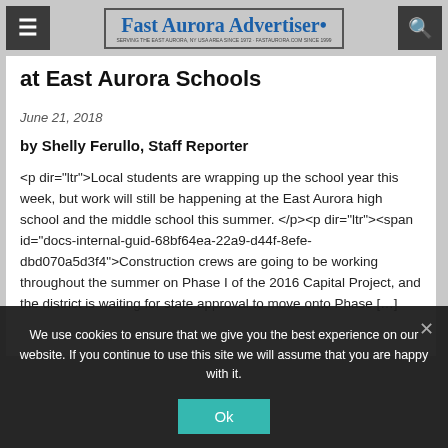Fast Aurora Advertiser — SERVING THE EAST AURORA, NY USA AREA SINCE 1972 · FASTAURORA.COM SINCE 1999
at East Aurora Schools
June 21, 2018
by Shelly Ferullo, Staff Reporter
<p dir="ltr">Local students are wrapping up the school year this week, but work will still be happening at the East Aurora high school and the middle school this summer. </p><p dir="ltr"><span id="docs-internal-guid-68bf64ea-22a9-d44f-8efe-dbd070a5d3f4">Construction crews are going to be working throughout the summer on Phase I of the 2016 Capital Project, and the district is waiting for state approval to move onto Phase [...]
We use cookies to ensure that we give you the best experience on our website. If you continue to use this site we will assume that you are happy with it.